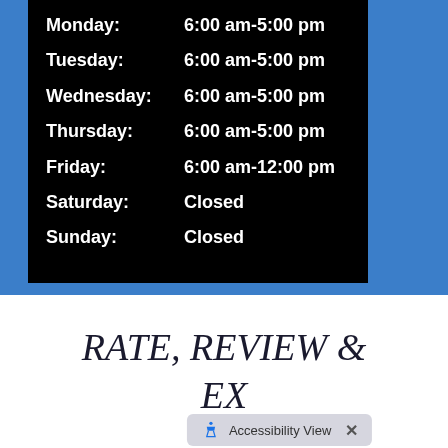Monday: 6:00 am-5:00 pm
Tuesday: 6:00 am-5:00 pm
Wednesday: 6:00 am-5:00 pm
Thursday: 6:00 am-5:00 pm
Friday: 6:00 am-12:00 pm
Saturday: Closed
Sunday: Closed
RATE, REVIEW &
EX...